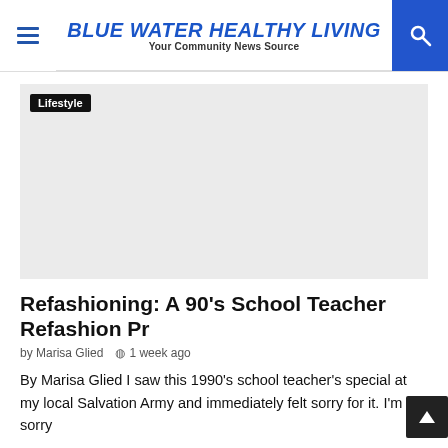BLUE WATER HEALTHY LIVING — Your Community News Source
[Figure (other): Gray placeholder image / advertisement area with 'Lifestyle' label badge]
Refashioning: A 90's School Teacher Refashion Project
by Marisa Glied  1 week ago
By Marisa Glied I saw this 1990's school teacher's special at my local Salvation Army and immediately felt sorry for it. I'm sorry